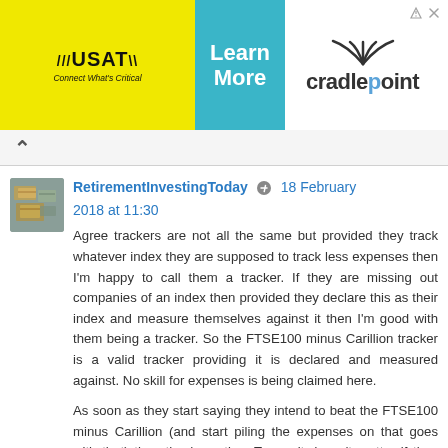[Figure (screenshot): Advertisement banner with USAT (yellow background, 'Connect What's Critical' tagline), 'Learn More' (teal background), and Cradlepoint logo with antenna graphic. Small arrow and X icons top right.]
[Figure (screenshot): Navigation bar with back (up) caret arrow on white/light grey background.]
[Figure (photo): Avatar thumbnail image of RetirementInvestingToday user showing banknotes/money.]
RetirementInvestingToday 🔘 18 February 2018 at 11:30
Agree trackers are not all the same but provided they track whatever index they are supposed to track less expenses then I'm happy to call them a tracker. If they are missing out companies of an index then provided they declare this as their index and measure themselves against it then I'm good with them being a tracker. So the FTSE100 minus Carillion tracker is a valid tracker providing it is declared and measured against. No skill for expenses is being claimed here.
As soon as they start saying they intend to beat the FTSE100 minus Carillion (and start piling the expenses on that goes with that) then they're active. To me it doesn't matter if they are an